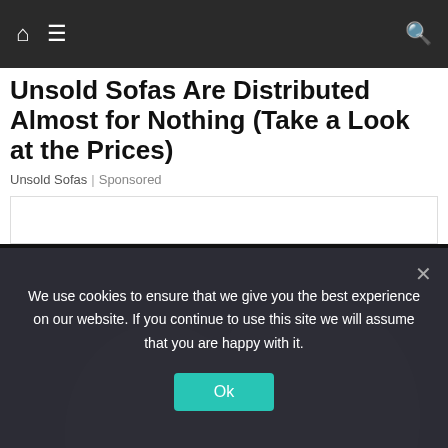Navigation bar with home, menu, and search icons
Unsold Sofas Are Distributed Almost for Nothing (Take a Look at the Prices)
Unsold Sofas | Sponsored
[Figure (photo): Close-up photo of a black leather sofa/armchair showing padded cushions and armrests against a dark background]
We use cookies to ensure that we give you the best experience on our website. If you continue to use this site we will assume that you are happy with it.